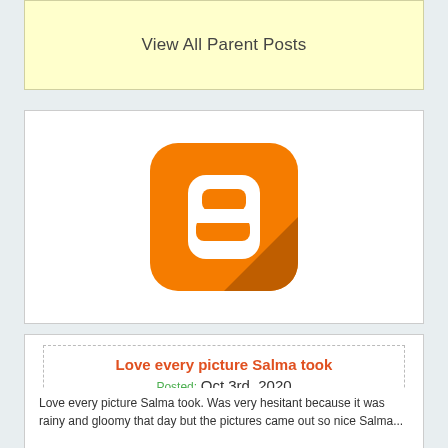View All Parent Posts
[Figure (logo): Blogger app icon: orange rounded square with a white 'B' letter logo and a darker orange drop shadow in the lower right corner]
Love every picture Salma took
Posted: Oct 3rd, 2020
Love every picture Salma took. Was very hesitant because it was rainy and gloomy that day but the pictures came out so nice Salma...